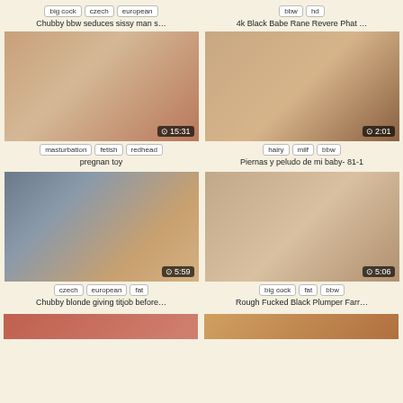Tags: big cock, czech, european | Title: Chubby bbw seduces sissy man s...
Tags: bbw, hd | Title: 4k Black Babe Rane Revere Phat ...
[Figure (photo): Video thumbnail - duration 15:31]
Tags: masturbation, fetish, redhead | Title: pregnan toy
[Figure (photo): Video thumbnail - duration 2:01]
Tags: hairy, milf, bbw | Title: Piernas y peludo de mi baby- 81-1
[Figure (photo): Video thumbnail - duration 5:59]
Tags: czech, european, fat | Title: Chubby blonde giving titjob before...
[Figure (photo): Video thumbnail - duration 5:06]
Tags: big cock, fat, bbw | Title: Rough Fucked Black Plumper Farr...